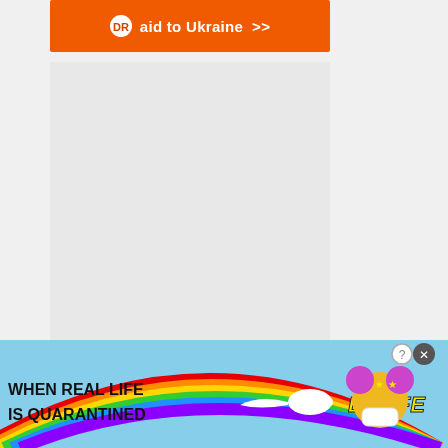[Figure (other): Orange Direct Relief donation banner for Ukraine aid with double chevron arrow]
[Figure (logo): Ezoic logo with green circular checkmark icon and 'ezoic' text, with 'report this ad' link on the right]
Architecture
One of the largest architectural sites in the world - contact isabelle(at)e-architect.com
[Figure (other): BitLife mobile game advertisement banner with rainbow, sperm emoji, cartoon characters, and text 'WHEN REAL LIFE IS QUARANTINED' and 'BitLife']